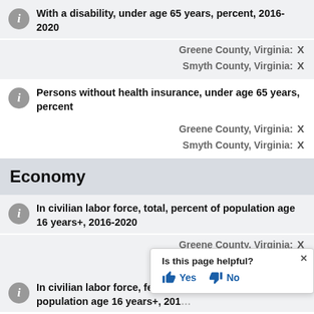With a disability, under age 65 years, percent, 2016-2020
Greene County, Virginia: X
Smyth County, Virginia: X
Persons without health insurance, under age 65 years, percent
Greene County, Virginia: X
Smyth County, Virginia: X
Economy
In civilian labor force, total, percent of population age 16 years+, 2016-2020
Greene County, Virginia: X
Smyth County, Virginia: X
In civilian labor force, female, percent of population age 16 years+, 2016-2020
[Figure (screenshot): Is this page helpful? Yes / No popup overlay]